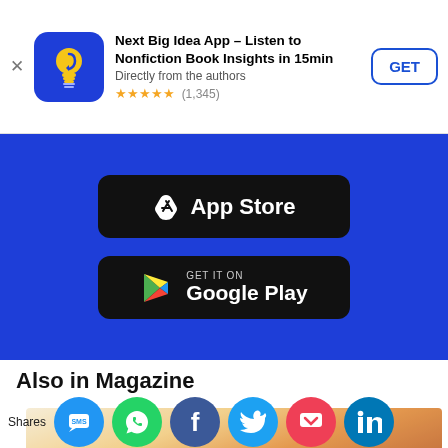[Figure (screenshot): Ad banner for Next Big Idea App with icon, title, subtitle, star rating, and GET button]
[Figure (screenshot): Blue background section with App Store and Google Play download buttons]
Also in Magazine
[Figure (photo): Sunset/landscape photo partially visible at bottom of page]
[Figure (infographic): Social sharing bar with Shares label and circular icons: SMS/chat, WhatsApp, Facebook, Twitter, Pocket, LinkedIn]